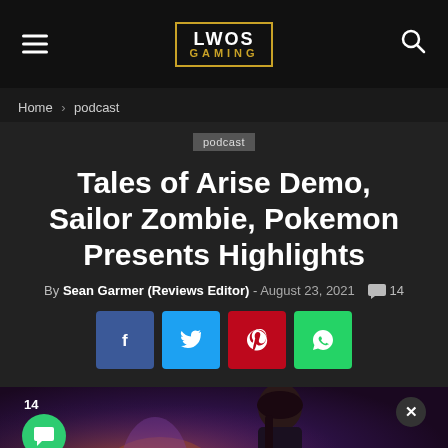LWOS GAMING
Home › podcast
Tales of Arise Demo, Sailor Zombie, Pokemon Presents Highlights
By Sean Garmer (Reviews Editor) - August 23, 2021  💬 14
[Figure (infographic): Social share buttons: Facebook (blue), Twitter (cyan), Pinterest (red), WhatsApp (green)]
[Figure (screenshot): Game screenshot showing a female character with dark hair against a fantasy backdrop with purple/orange tones. Comment count badge showing 14 with green chat bubble icon in lower left, close X button top right.]